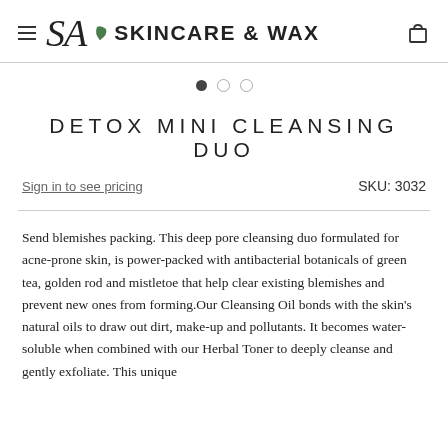SA Skincare & Wax
[Figure (other): Slideshow navigation dots: one filled, two empty]
DETOX MINI CLEANSING DUO
Sign in to see pricing    SKU: 3032
Send blemishes packing. This deep pore cleansing duo formulated for acne-prone skin, is power-packed with antibacterial botanicals of green tea, golden rod and mistletoe that help clear existing blemishes and prevent new ones from forming.Our Cleansing Oil bonds with the skin's natural oils to draw out dirt, make-up and pollutants. It becomes water-soluble when combined with our Herbal Toner to deeply cleanse and gently exfoliate. This unique